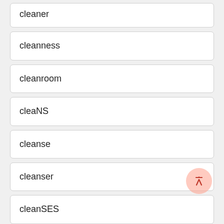cleaner
cleanness
cleanroom
cleaNS
cleanse
cleanser
cleanSES
cleansing